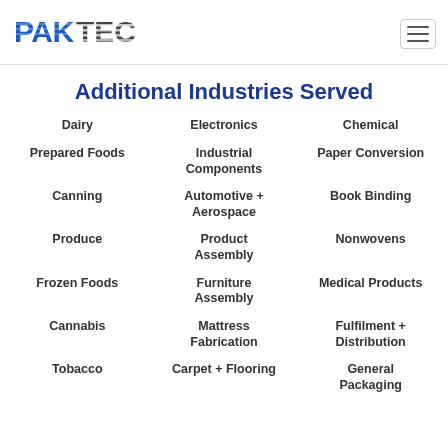[Figure (logo): PAKTEC logo in blue and dark gray with horizontal stripe pattern]
Additional Industries Served
Dairy
Electronics
Chemical
Prepared Foods
Industrial Components
Paper Conversion
Canning
Automotive + Aerospace
Book Binding
Produce
Product Assembly
Nonwovens
Frozen Foods
Furniture Assembly
Medical Products
Cannabis
Mattress Fabrication
Fulfilment + Distribution
Tobacco
Carpet + Flooring
General Packaging